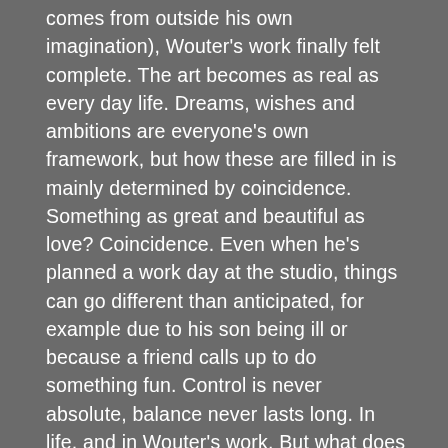comes from outside his own imagination), Wouter's work finally felt complete. The art becomes as real as every day life. Dreams, wishes and ambitions are everyone's own framework, but how these are filled in is mainly determined by coincidence. Something as great and beautiful as love? Coincidence. Even when he's planned a work day at the studio, things can go different than anticipated, for example due to his son being ill or because a friend calls up to do something fun. Control is never absolute, balance never lasts long. In life, and in Wouter's work. But what does coincidence mean to Wouter? He separates three principles. Statistics are for control freaks, fate is for the religious, and